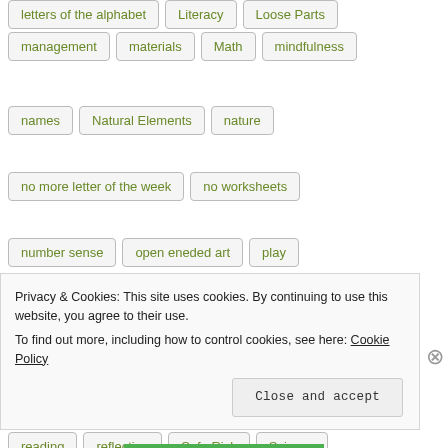letters of the alphabet
Literacy
Loose Parts
management
materials
Math
mindfulness
names
Natural Elements
nature
no more letter of the week
no worksheets
number sense
open eneded art
play
play centers
problem solving
process
provocations
Purposeful Play
read aloud
reading
reflection
Safe Risk
Science
Privacy & Cookies: This site uses cookies. By continuing to use this website, you agree to their use. To find out more, including how to control cookies, see here: Cookie Policy
Close and accept